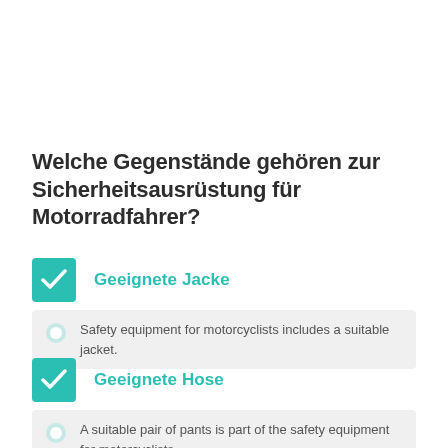Welche Gegenstände gehören zur Sicherheitsausrüstung für Motorradfahrer?
Geeignete Jacke — Safety equipment for motorcyclists includes a suitable jacket.
Geeignete Hose — A suitable pair of pants is part of the safety equipment for motorcyclists.